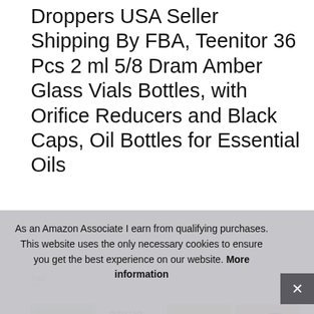Droppers USA Seller Shipping By FBA, Teenitor 36 Pcs 2 ml 5/8 Dram Amber Glass Vials Bottles, with Orifice Reducers and Black Caps, Oil Bottles for Essential Oils
#ad
[Figure (photo): Four product thumbnail images showing: 1) Amber glass vial with black cap (UV Protection label), 2) Product size diagram comparing vials and caps, 3) Essential oil bottles with natural ingredients, 4) Person receiving massage/wellness photo]
Teenitor help to buy Pipettes separately. What's in the package: 36pcs small
As an Amazon Associate I earn from qualifying purchases. This website uses the only necessary cookies to ensure you get the best experience on our website. More information